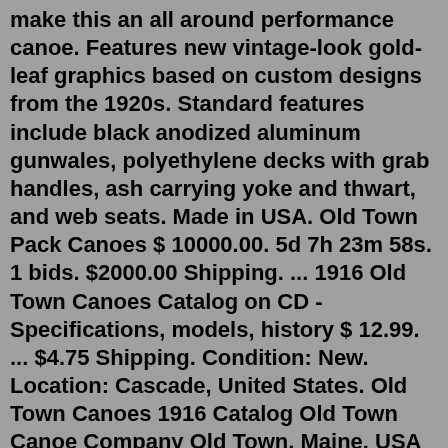make this an all around performance canoe. Features new vintage-look gold-leaf graphics based on custom designs from the 1920s. Standard features include black anodized aluminum gunwales, polyethylene decks with grab handles, ash carrying yoke and thwart, and web seats. Made in USA. Old Town Pack Canoes $ 10000.00. 5d 7h 23m 58s. 1 bids. $2000.00 Shipping. ... 1916 Old Town Canoes Catalog on CD - Specifications, models, history $ 12.99. ... $4.75 Shipping. Condition: New. Location: Cascade, United States. Old Town Canoes 1916 Catalog Old Town Canoe Company Old Town. Maine, USA This vintage catalog includes a detailed ...Upgraded seat, foot pads and paddleHARD TO FIND - Old Town Pack Canoe Rare Angler ModelThe Old Town Pack Canoe is made of extremely durable and tough Royalex which is why the canoe weights only 33 pounds.The Pack Canoe is quieter than aluminum, tougher than fiber, and less prone to fracturepunch holes than kevlar.The Old Town Pack Canoe Features-A lowered contoured seat with adjustable Its stable hull design can